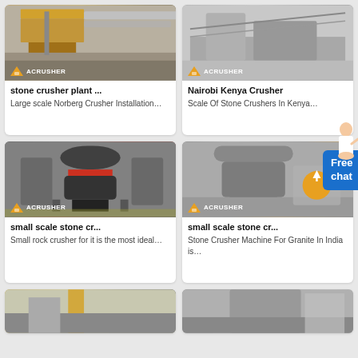[Figure (photo): Stone crusher plant machinery with orange/yellow conveyor structures, ACRUSHER logo]
stone crusher plant ...
Large scale Norberg Crusher Installation…
[Figure (photo): Nairobi Kenya crusher machinery in factory, ACRUSHER logo]
Nairobi Kenya Crusher
Scale Of Stone Crushers In Kenya…
[Figure (photo): Small scale stone crusher machine, dark industrial machine with red/orange band, ACRUSHER logo]
small scale stone cr...
Small rock crusher for it is the most ideal…
[Figure (photo): Small scale stone crusher machine for granite in India, large conical crusher, ACRUSHER logo with orange upload button]
small scale stone cr...
Stone Crusher Machine For Granite In India is…
[Figure (photo): Bottom partial image of another crusher machine]
[Figure (photo): Bottom partial image of another crusher machine]